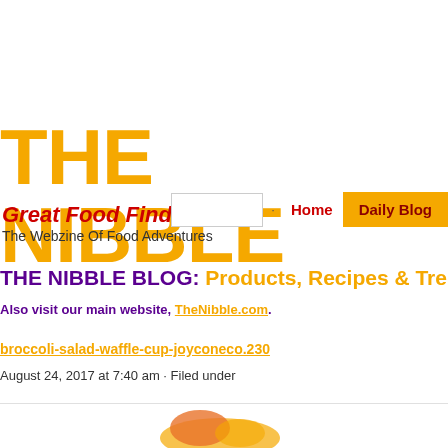THE NIBBLE
Great Food Finds
The Webzine Of Food Adventures
Home | Daily Blog
THE NIBBLE BLOG: Products, Recipes & Tren...
Also visit our main website, TheNibble.com.
broccoli-salad-waffle-cup-joyconeco.230
August 24, 2017 at 7:40 am · Filed under
[Figure (photo): Partial food photo at bottom of page, showing a colorful dish in a waffle cup]